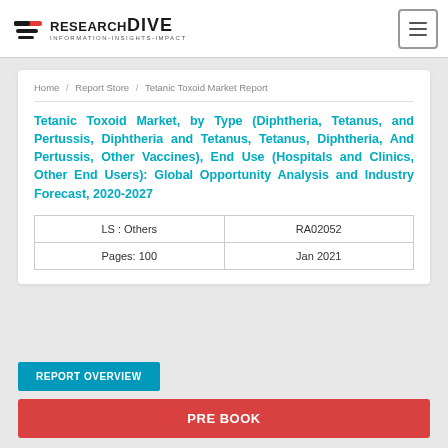RESEARCHDIVE — INFORMATION-INSIGHTS-IMPACT
Home / Report Store / Tetanic Toxoid Market Report
Tetanic Toxoid Market, by Type (Diphtheria, Tetanus, and Pertussis, Diphtheria and Tetanus, Tetanus, Diphtheria, And Pertussis, Other Vaccines), End Use (Hospitals and Clinics, Other End Users): Global Opportunity Analysis and Industry Forecast, 2020-2027
| LS : Others | RA02052 |
| Pages: 100 | Jan 2021 |
REPORT OVERVIEW
PRE BOOK